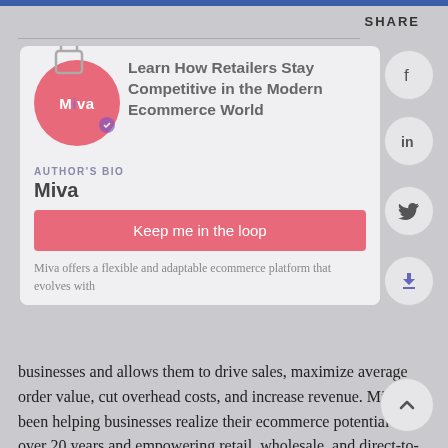SHARE
[Figure (screenshot): Miva logo circle with pink background and white Miva text, with padlock icon overlay]
Learn How Retailers Stay Competitive in the Modern Ecommerce World
AUTHOR'S BIO
Miva
Keep me in the loop
Stay on top of emerging ecommerce trends with the best tips and resources to grow your online business.
Miva offers a flexible and adaptable ecommerce platform that evolves with businesses and allows them to drive sales, maximize average order value, cut overhead costs, and increase revenue. Miva has been helping businesses realize their ecommerce potential for over 20 years and empowering retail, wholesale, and direct-to-consumer